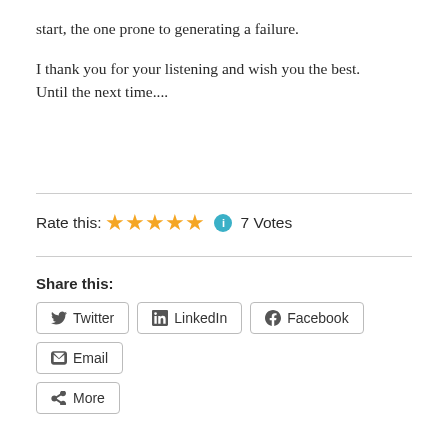start, the one prone to generating a failure.
I thank you for your listening and wish you the best. Until the next time....
Rate this: ★★★★★ ℹ 7 Votes
Share this:
Twitter
LinkedIn
Facebook
Email
More